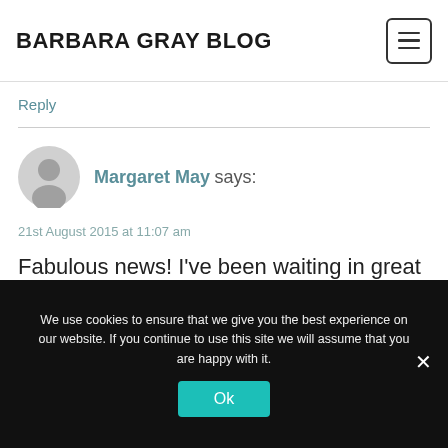BARBARA GRAY BLOG
Reply
Margaret May says:
21st August 2015 at 11:07 am
Fabulous news! I've been waiting in great anticipation for this new channel to start and who would
We use cookies to ensure that we give you the best experience on our website. If you continue to use this site we will assume that you are happy with it.